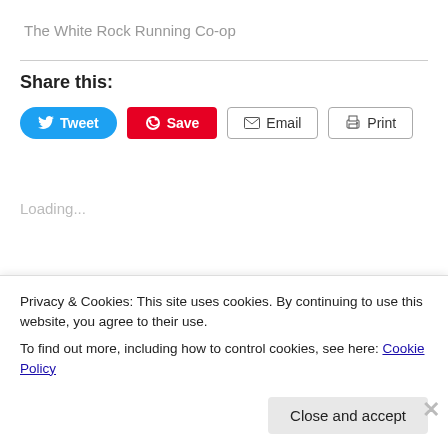The White Rock Running Co-op
Share this:
Tweet  Save  Email  Print
Loading...
09/10/2013
Privacy & Cookies: This site uses cookies. By continuing to use this website, you agree to their use.
To find out more, including how to control cookies, see here: Cookie Policy
Close and accept